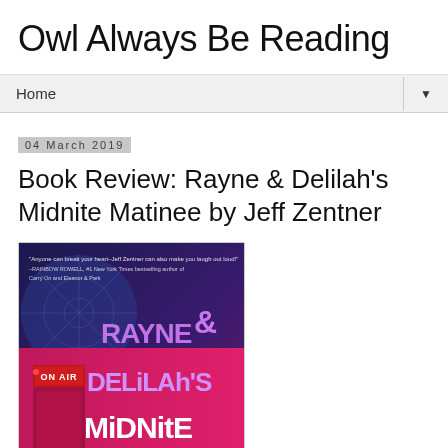Owl Always Be Reading
Home
04 March 2019
Book Review: Rayne & Delilah's Midnite Matinee by Jeff Zentner
[Figure (photo): Book cover of Rayne & Delilah's Midnite Matinee by Jeff Zentner. Dark purple/pink background with 'ON AIR' sign, showing stylized text 'RAYNE & DELiLAh'S MiDNitE' in large letters. A quote from Rainbow Rowell at the top.]